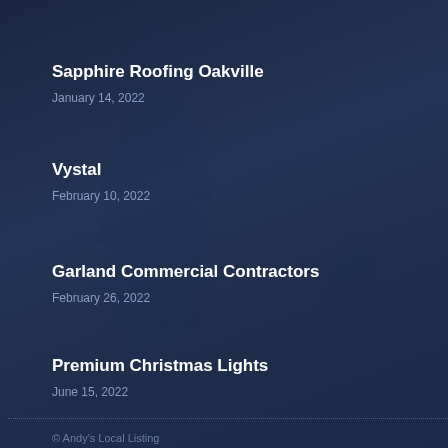Sapphire Roofing Oakville
January 14, 2022
Vystal
February 10, 2022
Garland Commercial Contractors
February 26, 2022
Premium Christmas Lights
June 15, 2022
© Andy's Local Listing